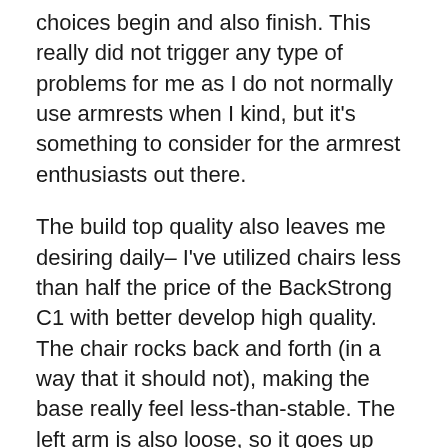choices begin and also finish. This really did not trigger any type of problems for me as I do not normally use armrests when I kind, but it's something to consider for the armrest enthusiasts out there.
The build top quality also leaves me desiring daily– I've utilized chairs less than half the price of the BackStrong C1 with better develop high quality. The chair rocks back and forth (in a way that it should not), making the base really feel less-than-stable. The left arm is also loose, so it goes up about an inch very easily– the right is a lot more planted and takes a bit of pressure to actually raise. That's just how they must both be. The armrest cover is likewise slightly separated on the left side, and it's